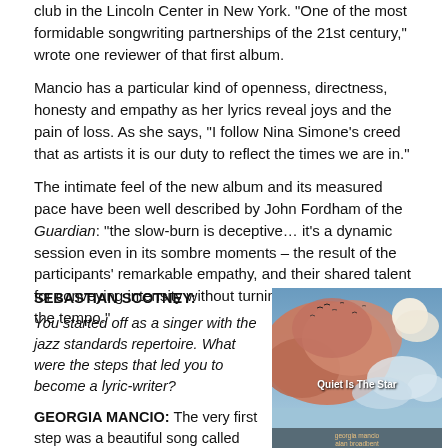club in the Lincoln Center in New York. “One of the most formidable songwriting partnerships of the 21st century,” wrote one reviewer of that first album.
Mancio has a particular kind of openness, directness, honesty and empathy as her lyrics reveal joys and the pain of loss. As she says, “I follow Nina Simone’s creed that as artists it is our duty to reflect the times we are in.”
The intimate feel of the new album and its measured pace have been well described by John Fordham of the Guardian: “the slow-burn is deceptive… it’s a dynamic session even in its sombre moments – the result of the participants’ remarkable empathy, and their shared talent for conveying intensity without turning up the volume or the tempo.”
SEBASTIAN SCOTNEY: You started off as a singer with the jazz standards repertoire. What were the steps that led you to become a lyric-writer?
GEORGIA MANCIO: The very first step was a beautiful song called “Peaceful Place” composed by British pianist Tim
[Figure (photo): Album cover for 'Quiet Is The Star' by Georgia Mancio and Alan Broadbent, featuring a painted sky scene with clouds and birds, text 'Quiet Is The Star' in white, and artist names at the bottom.]